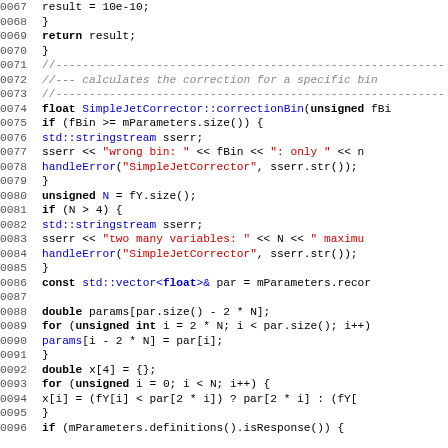[Figure (screenshot): C++ source code listing lines 0067-0096 of SimpleJetCorrector::correctionBin function, with syntax highlighting. Line numbers in grey on left, keywords in bold black, strings in red, identifiers in blue, comments in grey italic.]